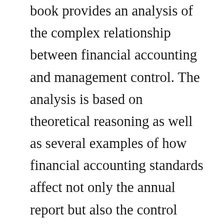book provides an analysis of the complex relationship between financial accounting and management control. The analysis is based on theoretical reasoning as well as several examples of how financial accounting standards affect not only the annual report but also the control system. An interesting, and perhaps unexpected conclusion is that management control seems to affect financial accounting almost as much as financial accounting affects management control. These complex relationships, which can influence the design and use of both financial accounting and management control, are discussed in detail in this book.